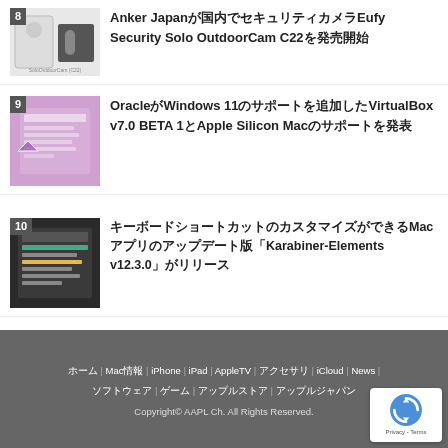8 Anker Japanが国内でセキュリティカメラEufy Security Solo OutdoorCam C22を発売開始
9 OracleがWindows 11のサポートを追加したVirtualBox v7.0 BETA 1とApple Silicon Macのサポートを発表
10 キーボードショートカットのカスタマイズができるMacアプリのアップデート版「Karabiner-Elements v12.3.0」がリリース
ホーム | Mac情報 | iPhone | iPad | AppleTV | アクセサリ | iCloud | News | ソフトウェア | ゲーム | アップルストア | アップルジャパン | Copyright© AAPL Ch. All Rights Reserved.